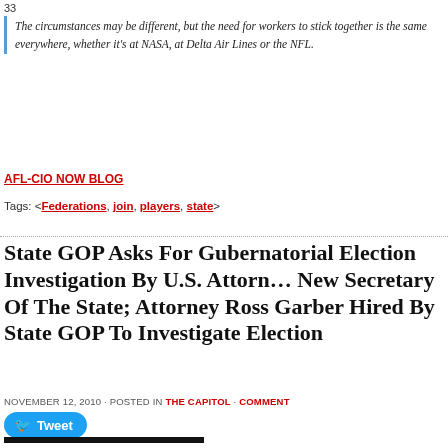33
The circumstances may be different, but the need for workers to stick together is the same everywhere, whether it's at NASA, at Delta Air Lines or the NFL.
AFL-CIO NOW BLOG
Tags: < Federations, join, players, state>
State GOP Asks For Gubernatorial Election Investigation By U.S. Attorney, New Secretary Of The State; Attorney Ross Garber Hired By State GOP To Investigate Election
NOVEMBER 12, 2010 · POSTED IN THE CAPITOL · COMMENT
Tweet